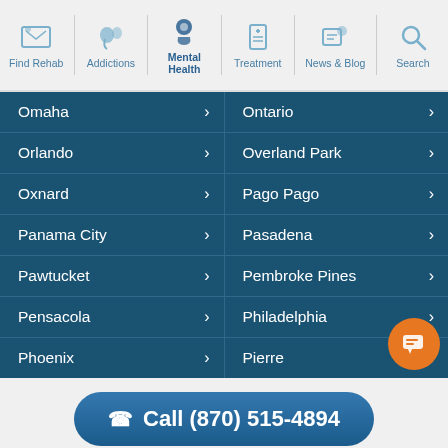[Figure (screenshot): Navigation bar with icons: Find Rehab, Addictions, Mental Health (active), Treatment, News & Blog, Search]
Omaha
Ontario
Orlando
Overland Park
Oxnard
Pago Pago
Panama City
Pasadena
Pawtucket
Pembroke Pines
Pensacola
Philadelphia
Phoenix
Pierre
Call (870) 515-4894
Confidentially speak with a treatment provider